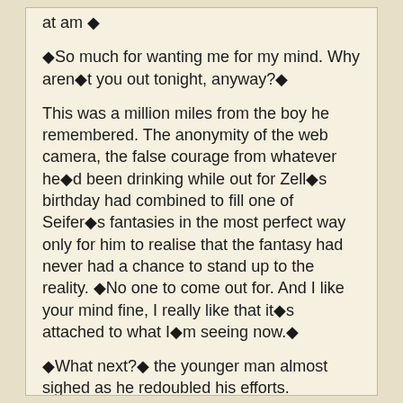at am ◆
◆So much for wanting me for my mind. Why aren◆t you out tonight, anyway?◆
This was a million miles from the boy he remembered. The anonymity of the web camera, the false courage from whatever he◆d been drinking while out for Zell◆s birthday had combined to fill one of Seifer◆s fantasies in the most perfect way only for him to realise that the fantasy had never had a chance to stand up to the reality. ◆No one to come out for. And I like your mind fine, I really like that it◆s attached to what I◆m seeing now.◆
◆What next?◆ the younger man almost sighed as he redoubled his efforts.
◆I think a little belly stroking and nipple pinching.◆
◆You◆re too far away,◆ Squall murmured, shifting into a more comfortable position. He planted one foot flat on the bed, the other still